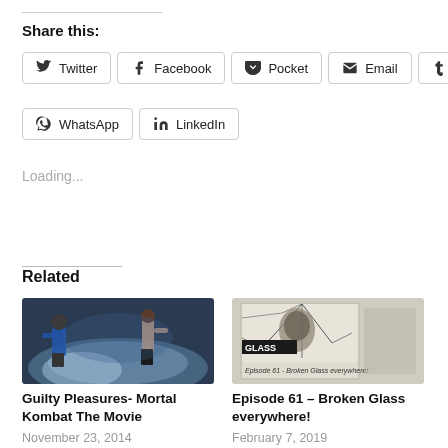Share this:
Twitter  Facebook  Pocket  Email  Tumblr  WhatsApp  LinkedIn
Loading...
Related
[Figure (photo): Two fighters in a smoky arena scene from Mortal Kombat movie]
Guilty Pleasures- Mortal Kombat The Movie
November 23, 2014
In "Cult Movies"
[Figure (screenshot): Screenshot of Glass podcast episode 61 with text 'GLASS Episode 61 - Broken Glass everywhere!']
Episode 61 – Broken Glass everywhere!
February 7, 2019
In "Articles"